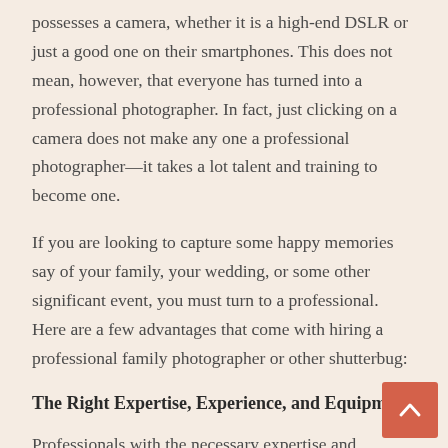possesses a camera, whether it is a high-end DSLR or just a good one on their smartphones. This does not mean, however, that everyone has turned into a professional photographer. In fact, just clicking on a camera does not make any one a professional photographer—it takes a lot talent and training to become one.
If you are looking to capture some happy memories say of your family, your wedding, or some other significant event, you must turn to a professional. Here are a few advantages that come with hiring a professional family photographer or other shutterbug:
The Right Expertise, Experience, and Equipment
Professionals with the necessary expertise and experience ensure that your family photographs turn out, well, picture perfect. Understand that shooting involves more than just